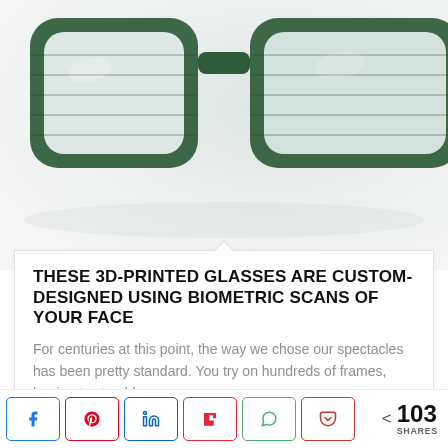[Figure (photo): Close-up photo of green 3D-printed eyeglass frames on a light grey/white background]
THESE 3D-PRINTED GLASSES ARE CUSTOM-DESIGNED USING BIOMETRIC SCANS OF YOUR FACE
For centuries at this point, the way we chose our spectacles has been pretty standard. You try on hundreds of frames, hoping to stumble across...
[Figure (other): Light blue banner/advertisement area]
< 103 SHARES (social share buttons: Facebook, Pinterest, LinkedIn, Flipboard, WhatsApp, Pocket)